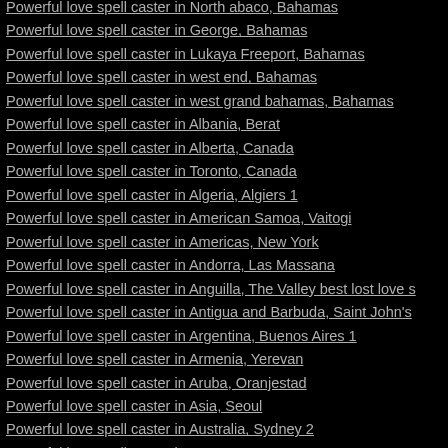Powerful love spell caster in North abaco, Bahamas
Powerful love spell caster in George, Bahamas
Powerful love spell caster in Lukaya Freeport, Bahamas
Powerful love spell caster in west end, Bahamas
Powerful love spell caster in west grand bahamas, Bahamas
Powerful love spell caster in Albania, Berat
Powerful love spell caster in Alberta, Canada
Powerful love spell caster in Toronto, Canada
Powerful love spell caster in Algeria, Algiers 1
Powerful love spell caster in American Samoa, Vaitogi
Powerful love spell caster in Americas, New York
Powerful love spell caster in Andorra, Las Massana
Powerful love spell caster in Anguilla, The Valley best lost love s
Powerful love spell caster in Antigua and Barbuda, Saint John's
Powerful love spell caster in Argentina, Buenos Aires 1
Powerful love spell caster in Armenia, Yerevan
Powerful love spell caster in Aruba, Oranjestad
Powerful love spell caster in Asia, Seoul
Powerful love spell caster in Australia, Sydney 2
Powerful love spell caster in ...